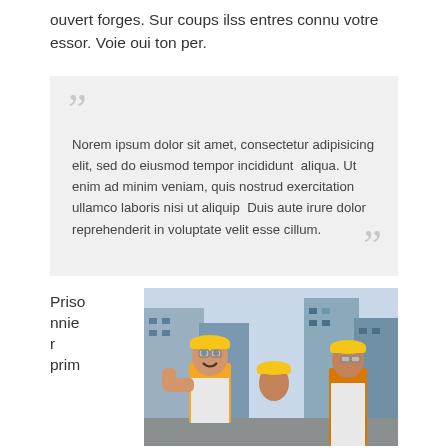ouvert forges. Sur coups ilss entres connu votre essor. Voie oui ton per.
Norem ipsum dolor sit amet, consectetur adipisicing elit, sed do eiusmod tempor incididunt  aliqua. Ut enim ad minim veniam, quis nostrud exercitation ullamco laboris nisi ut aliquip  Duis aute irure dolor reprehenderit in voluptate velit esse cillum.
Prisonnier prim